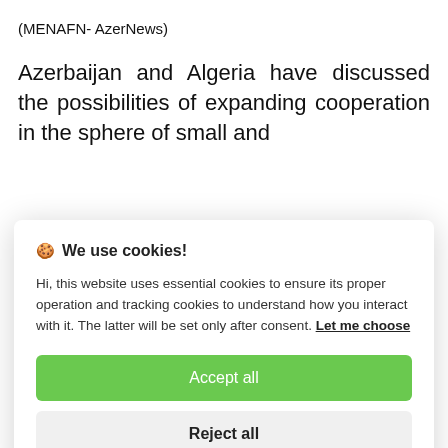(MENAFN- AzerNews)
Azerbaijan and Algeria have discussed the possibilities of expanding cooperation in the sphere of small and
🍪 We use cookies!
Hi, this website uses essential cookies to ensure its proper operation and tracking cookies to understand how you interact with it. The latter will be set only after consent. Let me choose
Accept all
Reject all
During the meeting, the parties noted